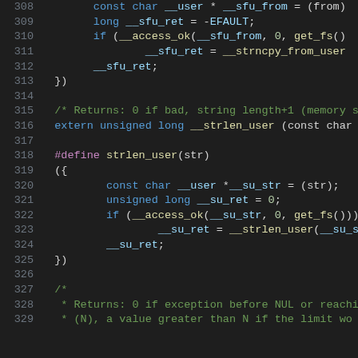[Figure (screenshot): Source code listing showing C preprocessor macros and function declarations related to safe user-space string operations (strncpy_from_user, strlen_user), with syntax highlighting. Line numbers 308-329 visible.]